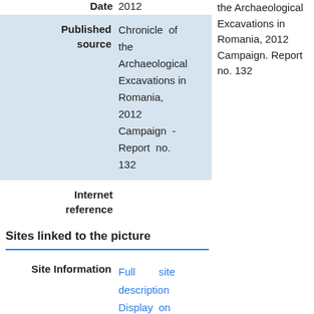| Date | 2012 | the Archaeological Excavations in Romania, 2012 Campaign. Report no. 132 |
| Published source | Chronicle of the Archaeological Excavations in Romania, 2012 Campaign - Report no. 132 |  |
| Internet reference |  |  |
Sites linked to the picture
| Site Information | Full site description
Display on |